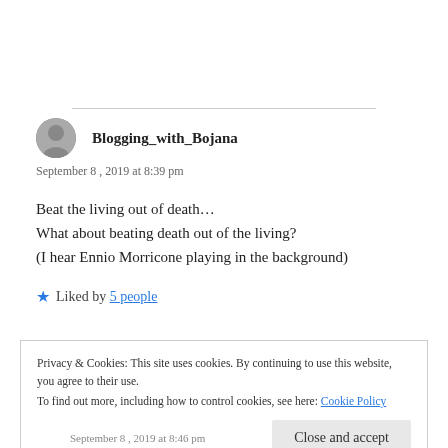Blogging_with_Bojana
September 8, 2019 at 8:39 pm
Beat the living out of death…
What about beating death out of the living?
(I hear Ennio Morricone playing in the background)
★ Liked by 5 people
Privacy & Cookies: This site uses cookies. By continuing to use this website, you agree to their use.
To find out more, including how to control cookies, see here: Cookie Policy
Close and accept
September 8, 2019 at 8:46 pm